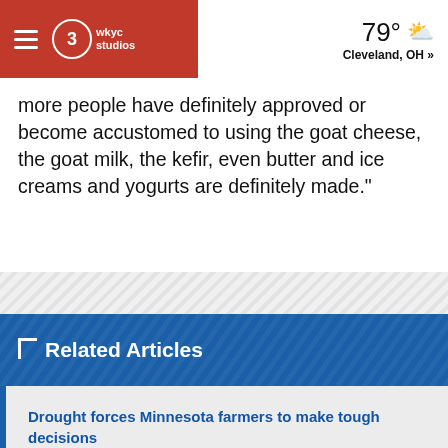WKYC Studios | 79° Cleveland, OH »
more people have definitely approved or become accustomed to using the goat cheese, the goat milk, the kefir, even butter and ice creams and yogurts are definitely made."
[Figure (other): Advertisement banner with diagonal stripe pattern]
Related Articles
Drought forces Minnesota farmers to make tough decisions